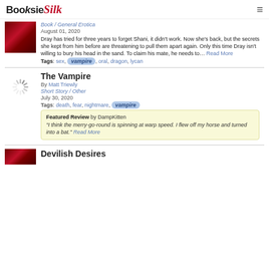BooksieSilk
Book / General Erotica
August 01, 2020
Dray has tried for three years to forget Shani, it didn't work. Now she's back, but the secrets she kept from him before are threatening to pull them apart again. Only this time Dray isn't willing to bury his head in the sand. To claim his mate, he needs to… Read More
Tags: sex, vampire, oral, dragon, lycan
The Vampire
By Matt Triewly
Short Story / Other
July 30, 2020
Tags: death, fear, nightmare, vampire
Featured Review by DampKitten
"I think the merry-go-round is spinning at warp speed. I flew off my horse and turned into a bat." Read More
Devilish Desires